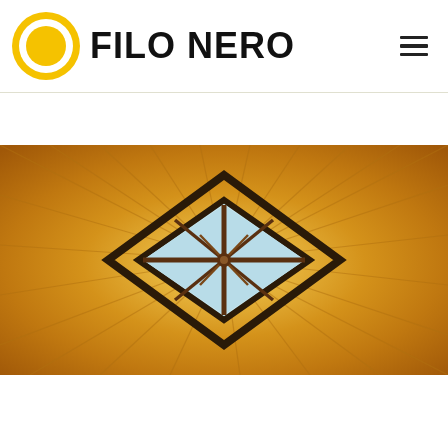[Figure (logo): Filo Nero logo: yellow circle (sun-like) with white ring and yellow center, next to bold black text FILO NERO]
[Figure (other): Hamburger menu icon: three horizontal black lines]
[Figure (photo): Looking up at a tent or pavilion ceiling from inside. Yellow and orange fabric radiates outward from a central square skylight opening. Dark wooden frame structure and crossed wooden poles visible at center against a light blue sky.]